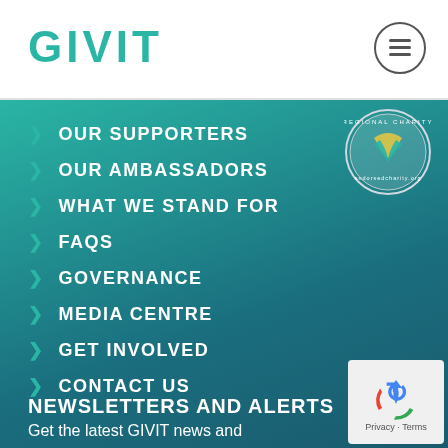GIVIT
OUR SUPPORTERS
OUR AMBASSADORS
WHAT WE STAND FOR
FAQS
GOVERNANCE
MEDIA CENTRE
GET INVOLVED
CONTACT US
[Figure (logo): Regional charity seal/badge with blue and gold ribbon graphic and circular text]
NEWSLETTERS AND ALERTS
Get the latest GIVIT news and
[Figure (logo): reCAPTCHA widget with recycling arrow icon and Privacy - Terms text]